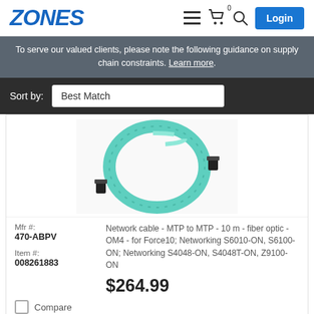ZONES
To serve our valued clients, please note the following guidance on supply chain constraints. Learn more.
Sort by: Best Match
[Figure (photo): Teal/aqua colored MTP to MTP fiber optic network cable coiled in a circle with two black connectors visible]
Mfr #: 470-ABPV
Item #: 008261883
Network cable - MTP to MTP - 10 m - fiber optic - OM4 - for Force10; Networking S6010-ON, S6100-ON; Networking S4048-ON, S4048T-ON, Z9100-ON
$264.99
Compare